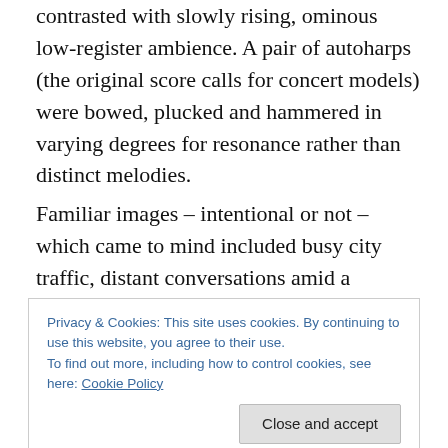contrasted with slowly rising, ominous low-register ambience. A pair of autoharps (the original score calls for concert models) were bowed, plucked and hammered in varying degrees for resonance rather than distinct melodies.
Familiar images – intentional or not – which came to mind included busy city traffic, distant conversations amid a bustling crowd, jet and electric engines, and a hailstorm or two. The most striking, creepiest moment came when Greenberg bowed the lowest tube on his marimba,
Privacy & Cookies: This site uses cookies. By continuing to use this website, you agree to their use.
To find out more, including how to control cookies, see here: Cookie Policy
On one hand, it was tempting to the extreme to just sit